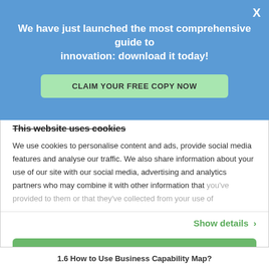We have just launched the most comprehensive guide to innovation: download it today!
CLAIM YOUR FREE COPY NOW
This website uses cookies
We use cookies to personalise content and ads, provide social media features and analyse our traffic. We also share information about your use of our site with our social media, advertising and analytics partners who may combine it with other information that you've provided to them or that they've collected from your use of
Show details >
Allow all
Deny
1.6 How to Use Business Capability Map?